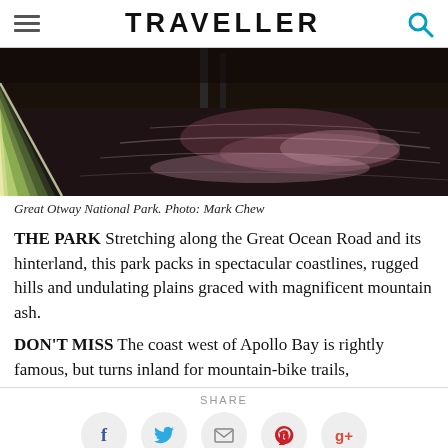TRAVELLER
[Figure (photo): Kayak/canoe bow on reflective water with pink-purple sky reflections, Great Otway National Park]
Great Otway National Park. Photo: Mark Chew
THE PARK Stretching along the Great Ocean Road and its hinterland, this park packs in spectacular coastlines, rugged hills and undulating plains graced with magnificent mountain ash.
DON'T MISS The coast west of Apollo Bay is rightly famous, but turns inland for mountain-bike trails,
SHARE
[Figure (infographic): Social sharing buttons: Facebook, Twitter, Email, Pinterest, Google+]